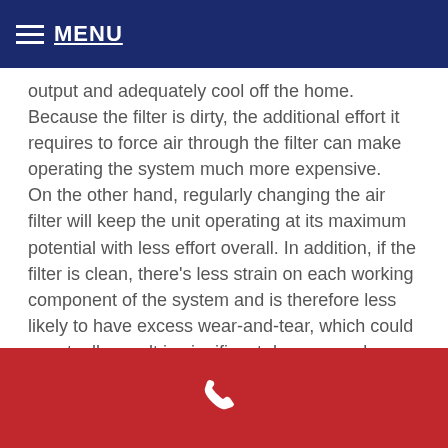MENU
output and adequately cool off the home. Because the filter is dirty, the additional effort it requires to force air through the filter can make operating the system much more expensive. On the other hand, regularly changing the air filter will keep the unit operating at its maximum potential with less effort overall. In addition, if the filter is clean, there's less strain on each working component of the system and is therefore less likely to have excess wear-and-tear, which could eventually result in significant damage and cause high energy costs in general.
[Figure (other): Red footer bar with a white telephone/phone icon in the center]